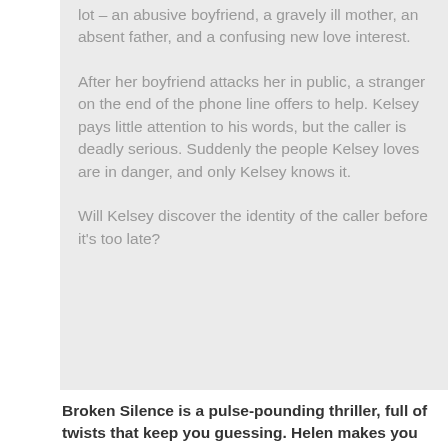lot – an abusive boyfriend, a gravely ill mother, an absent father, and a confusing new love interest.
After her boyfriend attacks her in public, a stranger on the end of the phone line offers to help. Kelsey pays little attention to his words, but the caller is deadly serious. Suddenly the people Kelsey loves are in danger, and only Kelsey knows it.
Will Kelsey discover the identity of the caller before it's too late?
Broken Silence is a pulse-pounding thriller, full of twists that keep you guessing.  Helen makes you second-guess